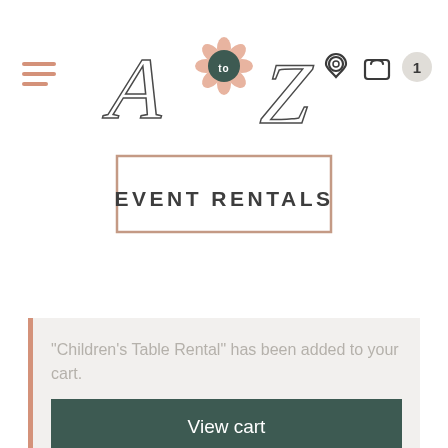[Figure (logo): A to Z Event Rentals logo with stylized script lettering and a floral emblem]
"Children's Table Rental" has been added to your cart.
View cart
Below you will find our selection of rental tables. Our tables are available for weddings, corporate events, company picnics, birthday parties, special events, yard sales and more! We proudly display all of our pricing on our website because we believe in